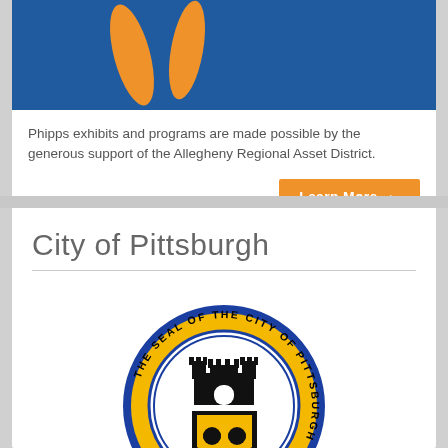[Figure (illustration): Blue banner with orange abstract shapes at the top of the Phipps card]
Phipps exhibits and programs are made possible by the generous support of the Allegheny Regional Asset District.
Learn More ▶
City of Pittsburgh
[Figure (logo): Official seal of the City of Pittsburgh showing a castle and shield with text 'THE SEAL OF THE CITY OF PITTSBURGH' around the border, with blue and gold/yellow ring]